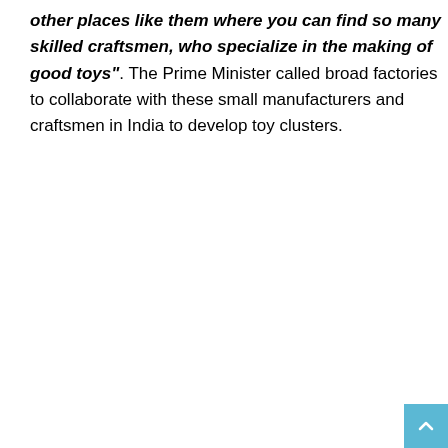other places like them where you can find so many skilled craftsmen, who specialize in the making of good toys". The Prime Minister called broad factories to collaborate with these small manufacturers and craftsmen in India to develop toy clusters.